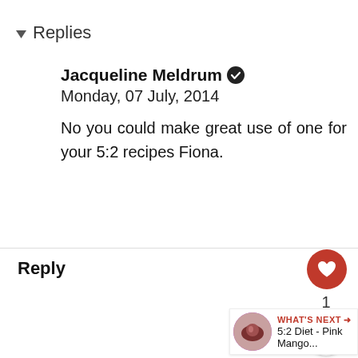▾ Replies
Jacqueline Meldrum ✔
Monday, 07 July, 2014
No you could make great use of one for your 5:2 recipes Fiona.
Reply
Bintu @ Recipes From A Pantry Monday, 07 July, 2014
You had me at self cle... was it you had me a pink pineapple smoothie. I would love both the